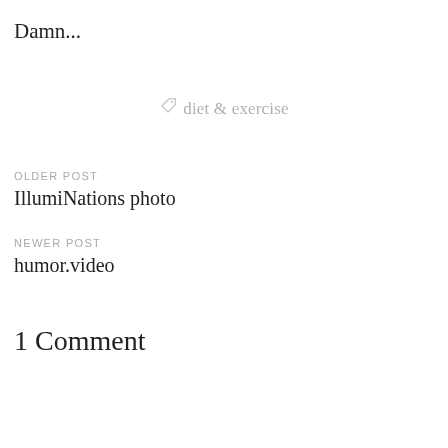Damn...
diet & exercise
OLDER POST
IllumiNations photo
NEWER POST
humor.video
1 Comment